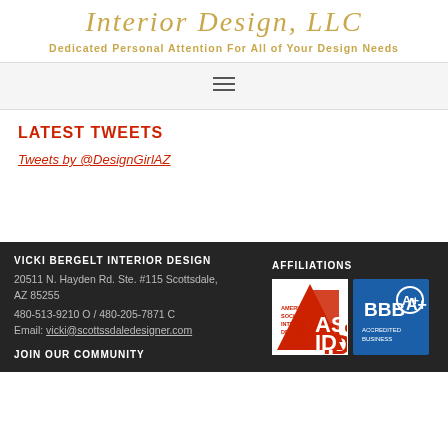Interior Design, LLC
Dedicated Personal Attention For All of Your Design Needs
LATEST TWEETS
Tweets by @DesignGirlAZ
VICKI BERGELT INTERIOR DESIGN
20511 N. Hayden Rd. Ste. #115 Scottsdale, AZ 85255
480-513-9210 O / 480-205-7871 C
Email: vicki@scottsdaledseigner.com
AFFILIATIONS
[Figure (logo): ASID American Society of Interior Designers logo]
[Figure (logo): BBB A+ Accredited Business logo]
JOIN OUR COMMUNITY